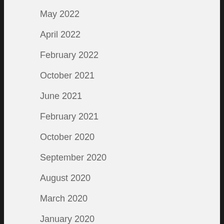May 2022
April 2022
February 2022
October 2021
June 2021
February 2021
October 2020
September 2020
August 2020
March 2020
January 2020
October 2019
September 2019